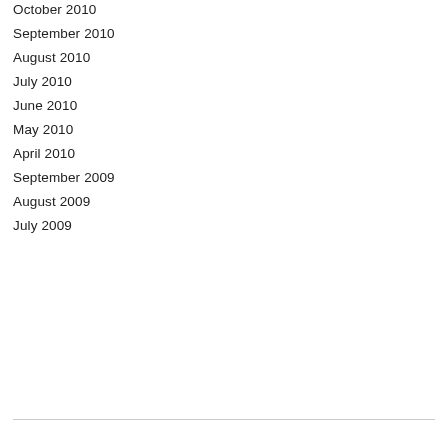October 2010
September 2010
August 2010
July 2010
June 2010
May 2010
April 2010
September 2009
August 2009
July 2009